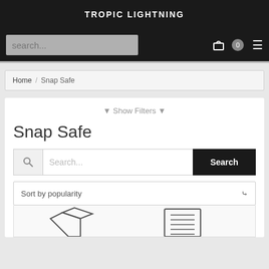TROPIC LIGHTNING
search...
▼ Show Filters ▼
Snap Safe
Search...
Sort by popularity
[Figure (photo): Partial product image showing snap safe items at the bottom of the page]